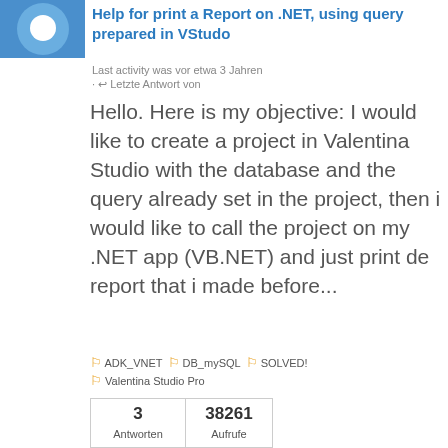Help for print a Report on .NET, using query prepared in VStudo
Last activity was vor etwa 3 Jahren
· ↩ Letzte Antwort von
Hello. Here is my objective: I would like to create a project in Valentina Studio with the database and the query already set in the project, then i would like to call the project on my .NET app (VB.NET) and just print de report that i made before...
🏷 ADK_VNET 🏷 DB_mySQL 🏷 SOLVED! 🏷 Valentina Studio Pro
3 Antworten  38261 Aufrufe